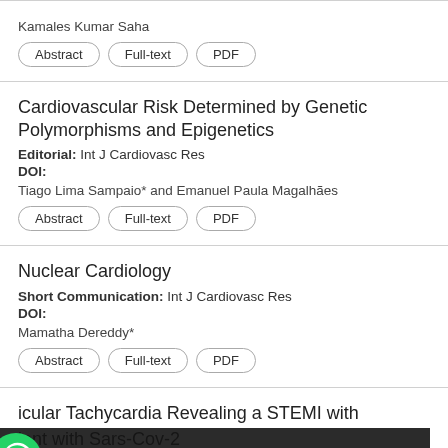Kamales Kumar Saha
Abstract | Full-text | PDF
Cardiovascular Risk Determined by Genetic Polymorphisms and Epigenetics
Editorial: Int J Cardiovasc Res
DOI:
Tiago Lima Sampaio* and Emanuel Paula Magalhães
Abstract | Full-text | PDF
Nuclear Cardiology
Short Communication: Int J Cardiovasc Res
DOI:
Mamatha Dereddy*
Abstract | Full-text | PDF
icular Tachycardia Revealing a STEMI with ient with Sars-Cov-2 Infe
[Figure (other): WhatsApp chat widget overlay with green phone icon and 'Leave a message +' text on dark background]